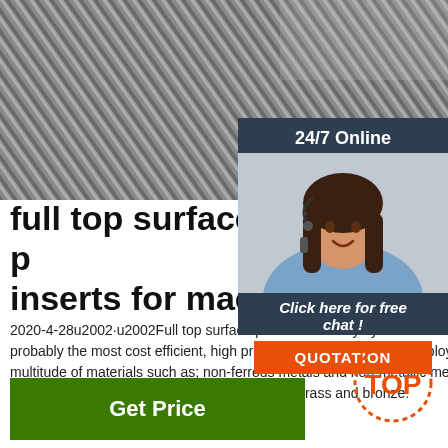[Figure (photo): Close-up photo of metallic milling insert surface showing parallel grooves/striations on a tool insert]
[Figure (illustration): 24/7 Online customer service widget with a woman wearing a headset smiling, and a 'Click here for free chat!' button and an orange QUOTATION button]
full top surface milling p inserts for machining ...
2020-4-28u2002·u2002Full top surface p stands for Polycrystalline Diamond, inse probably the most cost efficient, high pre cutting tools as inserts employed to mac multitude of materials such as; non-ferrous metals and non-metallic metals. A few non-ferrous metals include copper, aluminum, brass and bronze.
[Figure (logo): Orange dotted TOP badge/icon]
Get Price